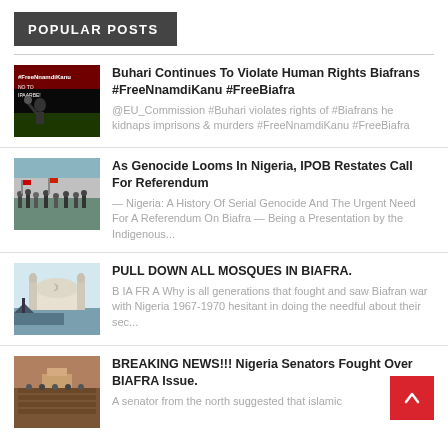POPULAR POSTS
Buhari Continues To Violate Human Rights Biafrans #FreeNnamdiKanu #FreeBiafra — @EU_Commission #Buhari violates rights of #Biafrans he kidnaps imprisons & murders #FreeNnamdiKanu #FreeBiafra
As Genocide Looms In Nigeria, IPOB Restates Call For Referendum — Nigeria: A History Of Serial Genocide And The Urgent Need For A Referendum On Biafra — Being a Presentation by the Indigenous...
PULL DOWN ALL MOSQUES IN BIAFRA. — B IA FR A Why is all generations that fought and saw Biafran war with Nigeria 1967-1970 hesitant in doing the needful about their sec...
BREAKING NEWS!!! Nigeria Senators Fought Over BIAFRA Issue. — A senator from the north suggested that islamic